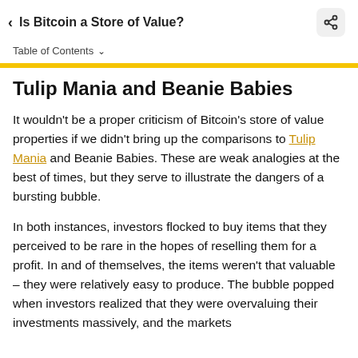Is Bitcoin a Store of Value?
Table of Contents
Tulip Mania and Beanie Babies
It wouldn't be a proper criticism of Bitcoin's store of value properties if we didn't bring up the comparisons to Tulip Mania and Beanie Babies. These are weak analogies at the best of times, but they serve to illustrate the dangers of a bursting bubble.
In both instances, investors flocked to buy items that they perceived to be rare in the hopes of reselling them for a profit. In and of themselves, the items weren't that valuable – they were relatively easy to produce. The bubble popped when investors realized that they were overvaluing their investments massively, and the markets